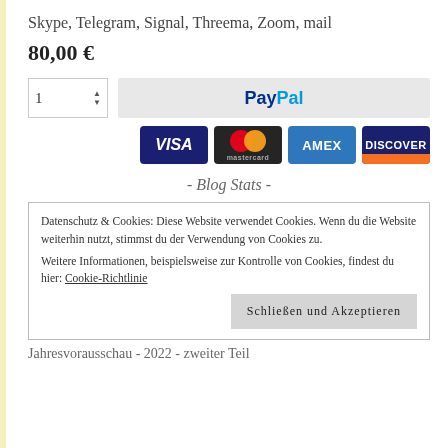Skype, Telegram, Signal, Threema, Zoom, mail
80,00 €
[Figure (other): Quantity selector input showing '1' with up/down arrows, and a PayPal payment button in grey background]
[Figure (other): Payment card logos: VISA (blue), Mastercard (red/orange circles on dark), AMEX (blue), DISCOVER (dark blue with orange)]
- Blog Stats -
Datenschutz & Cookies: Diese Website verwendet Cookies. Wenn du die Website weiterhin nutzt, stimmst du der Verwendung von Cookies zu.
Weitere Informationen, beispielsweise zur Kontrolle von Cookies, findest du hier: Cookie-Richtlinie
Schließen und Akzeptieren
Jahresvorausschau - 2022 - zweiter Teil